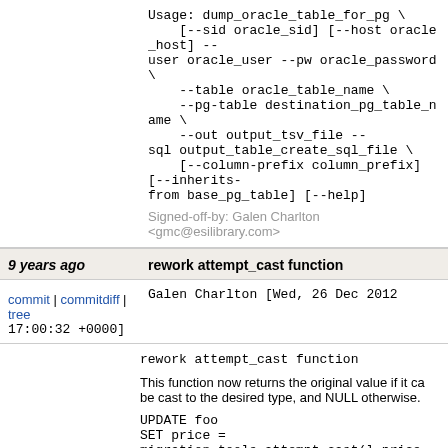Usage: dump_oracle_table_for_pg \
    [--sid oracle_sid] [--host oracle_host] --user oracle_user --pw oracle_password \
    --table oracle_table_name \
    --pg-table destination_pg_table_name \
    --out output_tsv_file --sql output_table_create_sql_file \
    [--column-prefix column_prefix] [--inherits-from base_pg_table] [--help]
Signed-off-by: Galen Charlton <gmc@esilibrary.com>
9 years ago
rework attempt_cast function
commit | commitdiff | tree
Galen Charlton [Wed, 26 Dec 2012 17:00:32 +0000]
rework attempt_cast function
This function now returns the original value if it can be cast to the desired type, and NULL otherwise.
UPDATE foo
SET price = migration_tools.attempt_cast(l_price,
Signed-off-by: Galen Charlton <gmc@esilibrary.com>